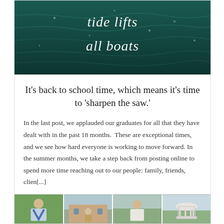[Figure (photo): Dark teal ocean water with white script text reading 'tide lifts all boats']
It's back to school time, which means it's time to 'sharpen the saw.'
In the last post, we applauded our graduates for all that they have dealt with in the past 18 months.  These are exceptional times, and we see how hard everyone is working to move forward. In the summer months, we take a step back from posting online to spend more time reaching out to our people: family, friends, clien[...]
[Figure (photo): Four graduation photos: a young man in blue stole, a child in front of a brick building, a graduate in white gown, and a white gazebo/rotunda]